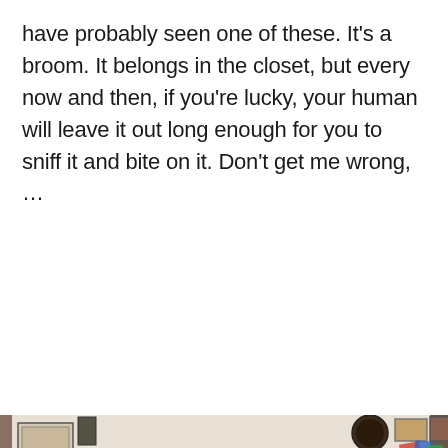have probably seen one of these. It's a broom. It belongs in the closet, but every now and then, if you're lucky, your human will leave it out long enough for you to sniff it and bite on it. Don't get me wrong, …
CONTINUE READING →
[Figure (photo): A living room interior with a teal armchair, floor lamp with gold shade, table lamp, a wooden chest/dresser with books and decorative items, a quilt-covered chair, wall clock, framed pictures on walls, and a typewriter on a box on the floor.]